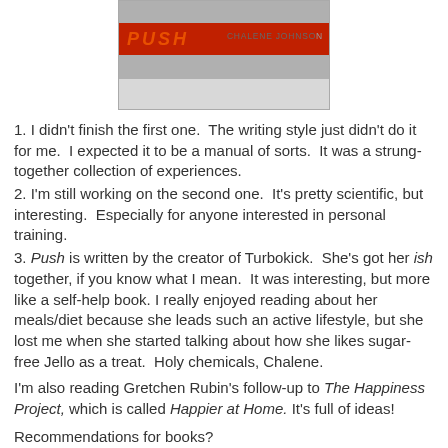[Figure (photo): Photo of stacked books including 'Push' by Chalene Johnson with red cover visible]
1. I didn't finish the first one.  The writing style just didn't do it for me.  I expected it to be a manual of sorts.  It was a strung-together collection of experiences.
2. I'm still working on the second one.  It's pretty scientific, but interesting.  Especially for anyone interested in personal training.
3. Push is written by the creator of Turbokick.  She's got her ish together, if you know what I mean.  It was interesting, but more like a self-help book. I really enjoyed reading about her meals/diet because she leads such an active lifestyle, but she lost me when she started talking about how she likes sugar-free Jello as a treat.  Holy chemicals, Chalene.
I'm also reading Gretchen Rubin's follow-up to The Happiness Project, which is called Happier at Home. It's full of ideas!
Recommendations for books?